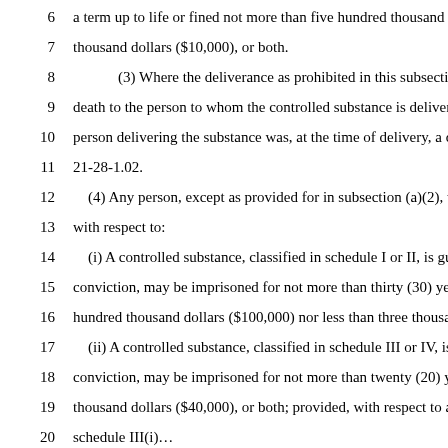6    a term up to life or fined not more than five hundred thousand do
7    thousand dollars ($10,000), or both.
8    (3) Where the deliverance as prohibited in this subsection sha
9    death to the person to whom the controlled substance is delivered
10   person delivering the substance was, at the time of delivery, a dru
11   21-28-1.02.
12   (4) Any person, except as provided for in subsection (a)(2), w
13   with respect to:
14   (i) A controlled substance, classified in schedule I or II, is gui
15   conviction, may be imprisoned for not more than thirty (30) years
16   hundred thousand dollars ($100,000) nor less than three thousand
17   (ii) A controlled substance, classified in schedule III or IV, is g
18   conviction, may be imprisoned for not more than twenty (20) yea
19   thousand dollars ($40,000), or both; provided, with respect to a co
20   schedule III(i)...